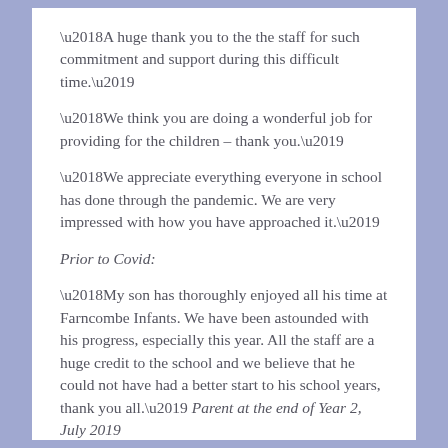‘A huge thank you to the the staff for such commitment and support during this difficult time.’
‘We think you are doing a wonderful job for providing for the children – thank you.’
‘We appreciate everything everyone in school has done through the pandemic. We are very impressed with how you have approached it.’
Prior to Covid:
‘My son has thoroughly enjoyed all his time at Farncombe Infants. We have been astounded with his progress, especially this year. All the staff are a huge credit to the school and we believe that he could not have had a better start to his school years, thank you all.’ Parent at the end of Year 2, July 2019